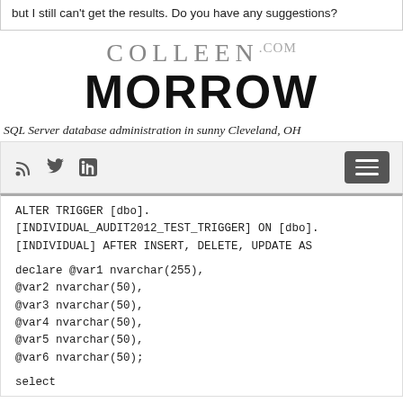but I still can't get the results. Do you have any suggestions?
[Figure (logo): ColleenMorrow.com logo with COLLEEN in thin gray serif font and MORROW in large bold black sans-serif font with .com superscript in gray]
SQL Server database administration in sunny Cleveland, OH
[Figure (screenshot): Navigation bar with RSS, Twitter, and LinkedIn icons on left, and a dark hamburger menu button on right]
ALTER TRIGGER [dbo].[INDIVIDUAL_AUDIT2012_TEST_TRIGGER] ON [dbo].[INDIVIDUAL] AFTER INSERT, DELETE, UPDATE AS

declare @var1 nvarchar(255),
@var2 nvarchar(50),
@var3 nvarchar(50),
@var4 nvarchar(50),
@var5 nvarchar(50),
@var6 nvarchar(50);

select